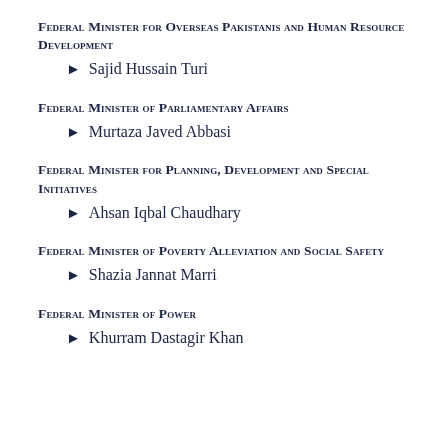Federal Minister for Overseas Pakistanis and Human Resource Development
Sajid Hussain Turi
Federal Minister of Parliamentary Affairs
Murtaza Javed Abbasi
Federal Minister for Planning, Development and Special Initiatives
Ahsan Iqbal Chaudhary
Federal Minister of Poverty Alleviation and Social Safety
Shazia Jannat Marri
Federal Minister of Power
Khurram Dastagir Khan